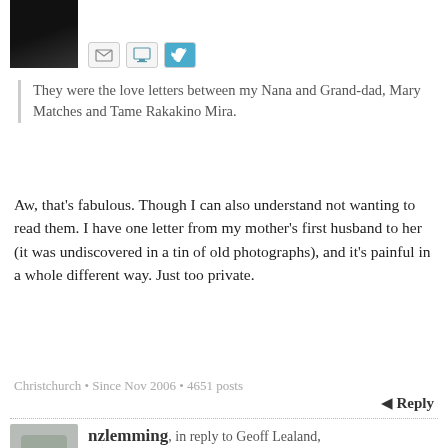[Figure (photo): Dark avatar photo of a user, partially visible at top]
[Figure (other): Social icons: email envelope, monitor/computer, Twitter bird]
They were the love letters between my Nana and Grand-dad, Mary Matches and Tame Rakakino Mira.
Aw, that's fabulous. Though I can also understand not wanting to read them. I have one letter from my mother's first husband to her (it was undiscovered in a tin of old photographs), and it's painful in a whole different way. Just too private.
Christchurch • Since Nov 2006 • 4651 posts
Reply
nzlemming, in reply to Geoff Lealand, 8 years ago ∞
[Figure (other): Grey speech bubble avatar for nzlemming]
[Figure (other): Social icons: email envelope, Twitter bird]
I sometimes feel that an interest in genealogy for some people is motivated by a desire to find some interesting or important relative in their past, so they can then bask in the reflected glory.
Yeah, nah. I mean, there are those who go looking